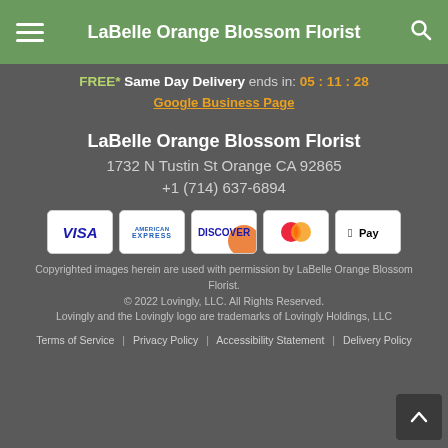LaBelle Orange Blossom Florist
FREE* Same Day Delivery ends in: 05 : 11 : 28
Google Business Page
LaBelle Orange Blossom Florist
1732 N Tustin St Orange CA 92865
+1 (714) 637-6894
[Figure (other): Payment method icons: VISA, American Express, Discover, Mastercard, Apple Pay]
Copyrighted images herein are used with permission by LaBelle Orange Blossom Florist.
© 2022 Lovingly, LLC. All Rights Reserved.
Lovingly and the Lovingly logo are trademarks of Lovingly Holdings, LLC
Terms of Service  |  Privacy Policy  |  Accessibility Statement  |  Delivery Policy